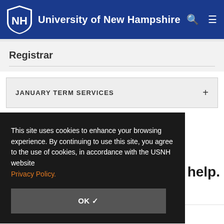University of New Hampshire
Registrar
JANUARY TERM SERVICES
This site uses cookies to enhance your browsing experience. By continuing to use this site, you agree to the use of cookies, in accordance with the USNH website Privacy Policy.
OK ✓
o help.
CONTACT OFFICE OF THE REGISTRAR ›